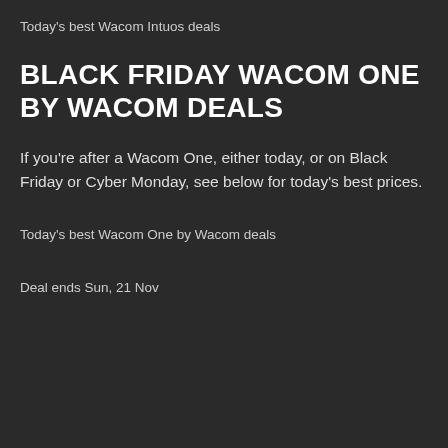Today's best Wacom Intuos deals
BLACK FRIDAY WACOM ONE BY WACOM DEALS
If you're after a Wacom One, either today, or on Black Friday or Cyber Monday, see below for today's best prices.
Today's best Wacom One by Wacom deals
Deal ends Sun, 21 Nov